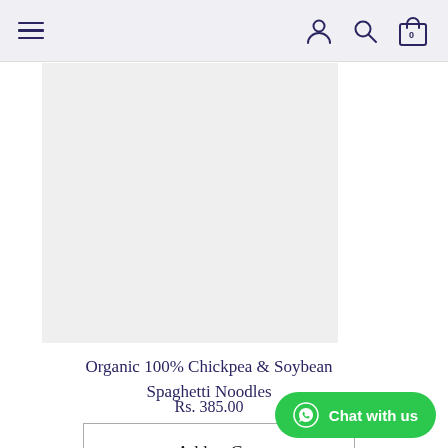Navigation bar with hamburger menu, user icon, search icon, and cart (0)
[Figure (photo): Product image placeholder — light grey rectangle for Organic 100% Chickpea & Soybean Spaghetti Noodles]
Organic 100% Chickpea & Soybean Spaghetti Noodles
Rs. 385.00
Add to Cart
← Prev
Next →
Chat with us